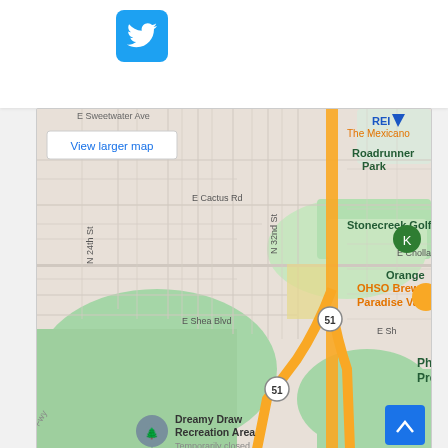[Figure (logo): Twitter bird logo icon in blue rounded square button]
[Figure (map): Google Maps embed showing area around Phoenix, AZ including: E Sweetwater Ave, E Cactus Rd, N 24th St, N 32nd St, E Cholla St, E Shea Blvd, Roadrunner Park, Stonecreek Golf Club, OHSO Brewery-Paradise Valley, The Mexicano, REI, Phoenix Mountain Preserve - 40th St..., Dreamy Draw Recreation Area (Temporarily closed), Orange, route 51, and a 'View larger map' button. Green hiking markers visible for parks.]